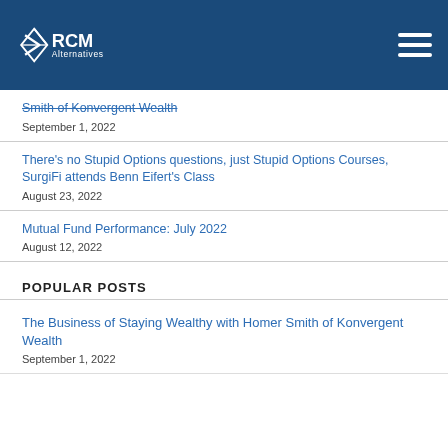RCM Alternatives
Smith of Konvergent Wealth
September 1, 2022
There's no Stupid Options questions, just Stupid Options Courses, SurgiFi attends Benn Eifert's Class
August 23, 2022
Mutual Fund Performance: July 2022
August 12, 2022
POPULAR POSTS
The Business of Staying Wealthy with Homer Smith of Konvergent Wealth
September 1, 2022